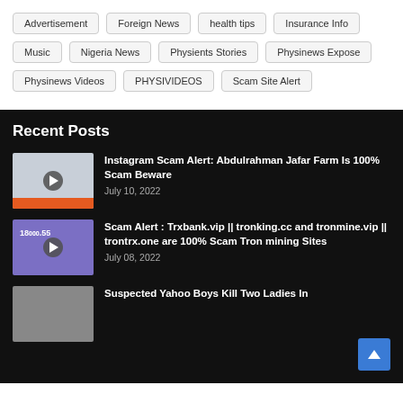Advertisement
Foreign News
health tips
Insurance Info
Music
Nigeria News
Physients Stories
Physinews Expose
Physinews Videos
PHYSIVIDEOS
Scam Site Alert
Recent Posts
Instagram Scam Alert: Abdulrahman Jafar Farm Is 100% Scam Beware
July 10, 2022
Scam Alert : Trxbank.vip || tronking.cc and tronmine.vip || trontrx.one are 100% Scam Tron mining Sites
July 08, 2022
Suspected Yahoo Boys Kill Two Ladies In